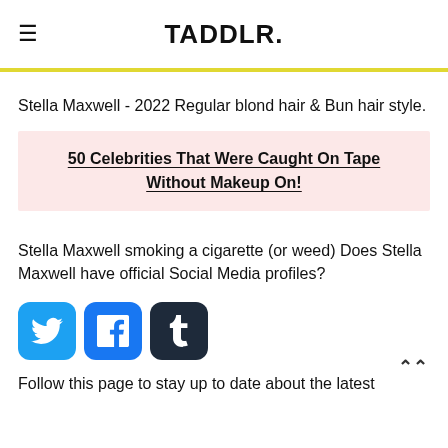TADDLR.
Stella Maxwell - 2022 Regular blond hair & Bun hair style.
50 Celebrities That Were Caught On Tape Without Makeup On!
Stella Maxwell smoking a cigarette (or weed) Does Stella Maxwell have official Social Media profiles?
[Figure (other): Social media icon buttons: Twitter (blue bird), Facebook (blue f), Tumblr (dark t)]
Follow this page to stay up to date about the latest